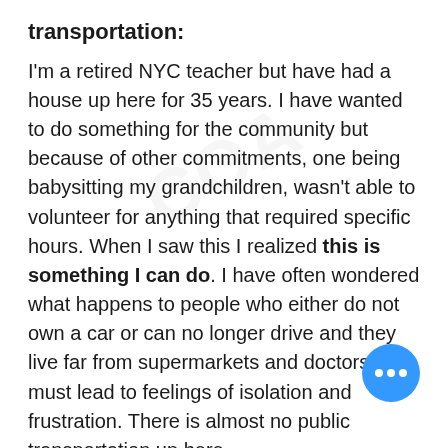transportation:
I'm a retired NYC teacher but have had a house up here for 35 years. I have wanted to do something for the community but because of other commitments, one being babysitting my grandchildren, wasn't able to volunteer for anything that required specific hours. When I saw this I realized this is something I can do. I have often wondered what happens to people who either do not own a car or can no longer drive and they live far from supermarkets and doctors. This must lead to feelings of isolation and frustration. There is almost no public transportation up here